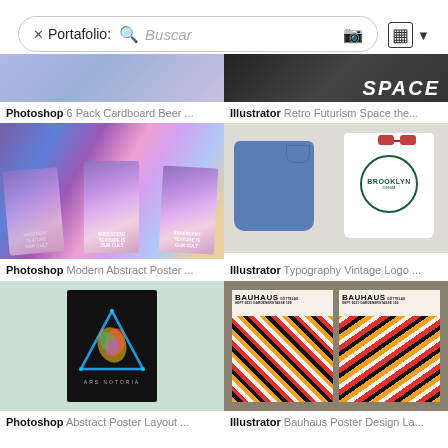[Figure (screenshot): Search bar with 'x Portafolio:' label, search icon, 'Buscar' placeholder, camera icon, and copy/dropdown icons on the right]
[Figure (photo): Partial view of iridescent/purple gradient design at top left]
[Figure (photo): Partial view of dark space-themed design with 'SPACE' text at top right]
Photoshop 6 Pack Cardboard Beer ...
Illustrator Retro Futurism Space the...
[Figure (photo): Three iridescent gradient poster mockups with text 'IRIDESCENT TEXTURE IS OUR CULT']
[Figure (photo): White denim Brooklyn t-shirt with circular logo next to folded blue jeans and red sunglasses on light background]
Photoshop Modern Abstract Poster ...
Illustrator Typography Vintage Logo ...
[Figure (photo): Abstract neon triangle poster with glowing colorful bird/geometric shape on dark background, text 'ARS NOTORIA', on mint green background]
[Figure (photo): Two Bauhaus poster designs with bold typography and colorful wave/zigzag patterns in orange, black, red and white]
Photoshop Abstract Poster Layout ...
Illustrator Bauhaus Poster Design La...